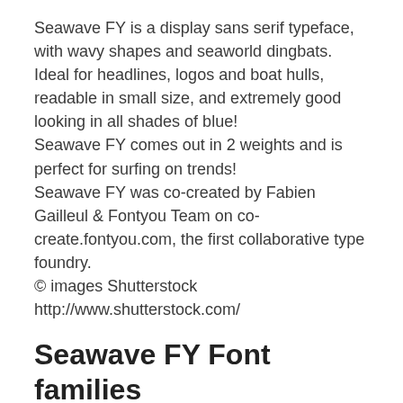Seawave FY is a display sans serif typeface, with wavy shapes and seaworld dingbats. Ideal for headlines, logos and boat hulls, readable in small size, and extremely good looking in all shades of blue! Seawave FY comes out in 2 weights and is perfect for surfing on trends! Seawave FY was co-created by Fabien Gailleul & Fontyou Team on co-create.fontyou.com, the first collaborative type foundry. © images Shutterstock http://www.shutterstock.com/
Seawave FY Font families
The Seawave FY includes the following font